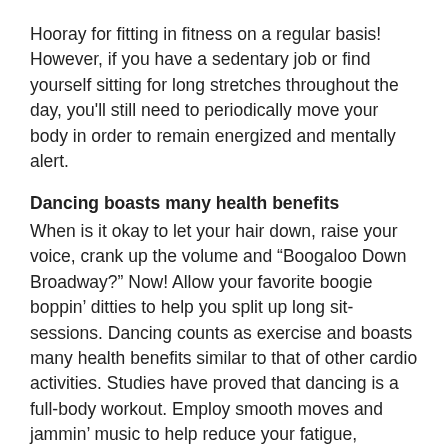Hooray for fitting in fitness on a regular basis! However, if you have a sedentary job or find yourself sitting for long stretches throughout the day, you'll still need to periodically move your body in order to remain energized and mentally alert.
Dancing boasts many health benefits
When is it okay to let your hair down, raise your voice, crank up the volume and “Boogaloo Down Broadway?” Now! Allow your favorite boogie boppin’ ditties to help you split up long sit-sessions. Dancing counts as exercise and boasts many health benefits similar to that of other cardio activities. Studies have proved that dancing is a full-body workout. Employ smooth moves and jammin’ music to help reduce your fatigue, improve your circulation, boost your cognitive performance, elevate your mood, and keep you